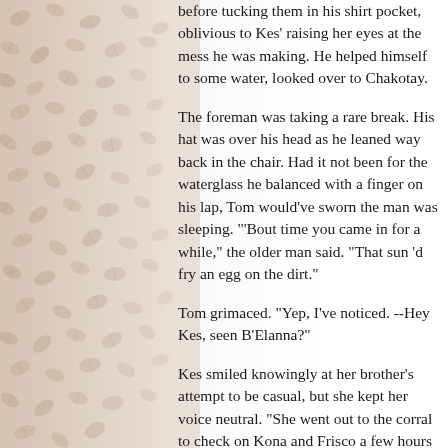[Figure (illustration): Background image of coffee beans on the left side of the page, fading to white on the right.]
before tucking them in his shirt pocket, oblivious to Kes' raising her eyes at the mess he was making. He helped himself to some water, looked over to Chakotay.
The foreman was taking a rare break. His hat was over his head as he leaned way back in the chair. Had it not been for the waterglass he balanced with a finger on his lap, Tom would've sworn the man was sleeping. "'Bout time you came in for a while," the older man said. "That sun 'd fry an egg on the dirt."
Tom grimaced. "Yep, I've noticed. --Hey Kes, seen B'Elanna?"
Kes smiled knowingly at her brother's attempt to be casual, but she kept her voice neutral. "She went out to the corral to check on Kona and Frisco a few hours back. I guess she's still there. Frisco's wounds looks like they're starting to heal, Tom. That--"
"You sure? I didn't see her when I came in."